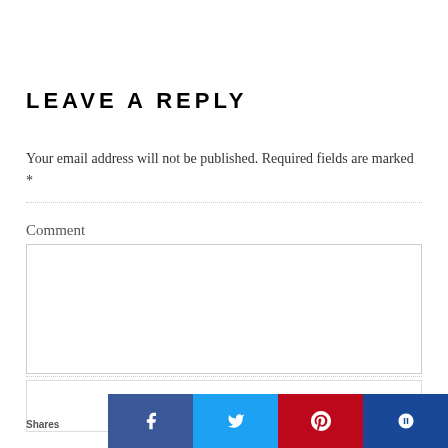LEAVE A REPLY
Your email address will not be published. Required fields are marked *
Comment
[Figure (screenshot): Comment text area input box with left and right chevron navigation arrows]
[Figure (screenshot): Second input field area below comment box]
Shares
[Figure (infographic): Social share bar with Facebook, Twitter, Pinterest, and StumbleUpon buttons]